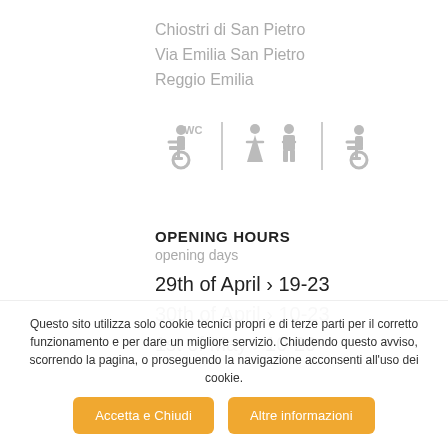Chiostri di San Pietro
Via Emilia San Pietro
Reggio Emilia
[Figure (infographic): Accessibility and restroom icons: wheelchair+WC, male/female restroom, wheelchair accessibility symbols in grey]
OPENING HOURS
opening days
29th of April › 19-23
30th of April › 10-23
1st of May › 10-20
Questo sito utilizza solo cookie tecnici propri e di terze parti per il corretto funzionamento e per dare un migliore servizio. Chiudendo questo avviso, scorrendo la pagina, o proseguendo la navigazione acconsenti all'uso dei cookie.
Accetta e Chiudi | Altre informazioni